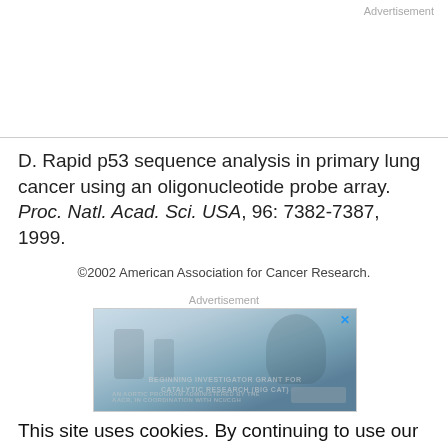Advertisement
D. Rapid p53 sequence analysis in primary lung cancer using an oligonucleotide probe array. Proc. Natl. Acad. Sci. USA, 96: 7382-7387, 1999.
©2002 American Association for Cancer Research.
Advertisement
[Figure (photo): Advertisement image showing a scientist in a lab coat working at a laboratory bench with microscope and equipment. Overlaid text related to a grant program for catalytic research (NCI/CGH).]
This site uses cookies. By continuing to use our website, you are agreeing to our privacy policy. Accept